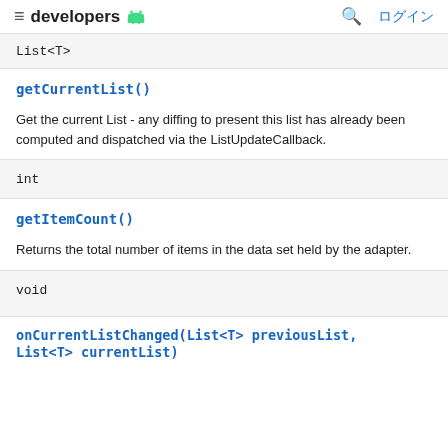developers  ログイン
List<T>
getCurrentList()
Get the current List - any diffing to present this list has already been computed and dispatched via the ListUpdateCallback.
int
getItemCount()
Returns the total number of items in the data set held by the adapter.
void
onCurrentListChanged(List<T> previousList, List<T> currentList)